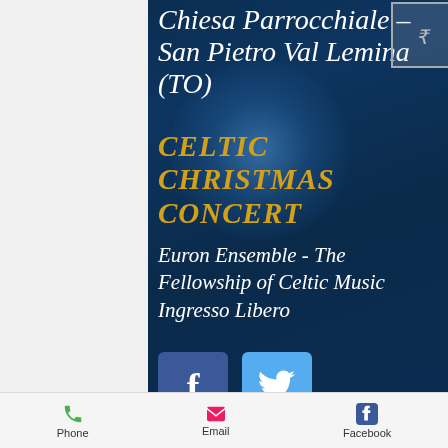Chiesa Parrocchiale – San Pietro Val Lemina (TO)
CELTIC CHRISTMAS CONCERT
Euron Ensemble - The Fellowship of Celtic Music
Ingresso Libero
[Figure (screenshot): Facebook and Twitter social share buttons]
Phone   Email   Facebook